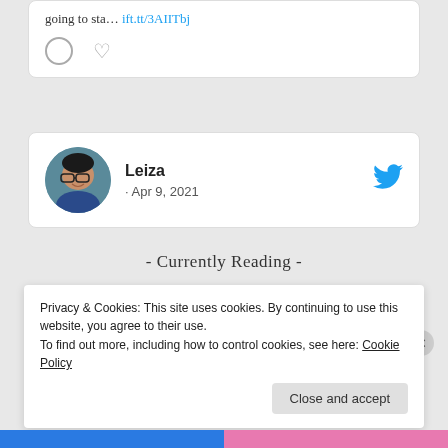going to sta... ift.tt/3AIITbj
[Figure (screenshot): Social media card for user Leiza with avatar, name, and date Apr 9, 2021, with Twitter bird icon]
- Currently Reading -
[Figure (screenshot): Book card showing 'Seduced by the Scot' by Jillian Eaton with book cover thumbnail]
Privacy & Cookies: This site uses cookies. By continuing to use this website, you agree to their use.
To find out more, including how to control cookies, see here: Cookie Policy
Close and accept